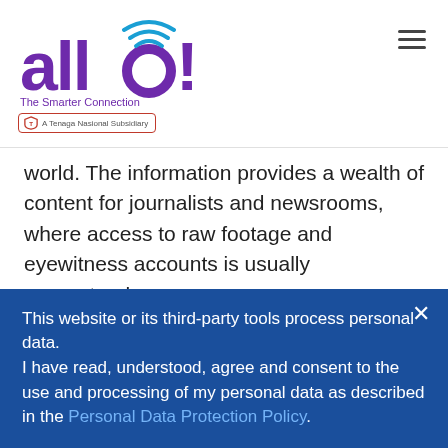[Figure (logo): Allo! The Smarter Connection logo with WiFi signal arcs over the letter o, and a Tenaga Nasional Subsidiary badge below]
world. The information provides a wealth of content for journalists and newsrooms, where access to raw footage and eyewitness accounts is usually guaranteed.
Instead of traveling across states from Kuala Lumpur to collect data on an incident in Perlis, a journalist can approach eyewitnesses through social media. And thanks to internet
This website or its third-party tools process personal data.
I have read, understood, agree and consent to the use and processing of my personal data as described in the Personal Data Protection Policy.